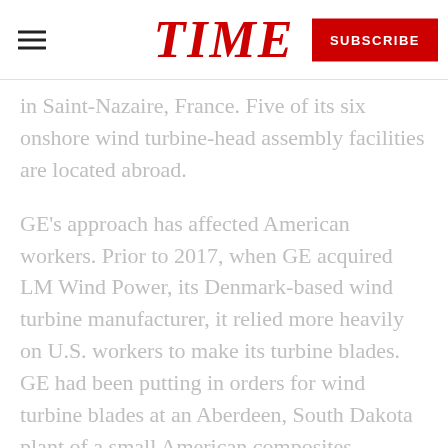TIME | SUBSCRIBE
in Saint-Nazaire, France. Five of its six onshore wind turbine-head assembly facilities are located abroad.
GE's approach has affected American workers. Prior to 2017, when GE acquired LM Wind Power, its Denmark-based wind turbine manufacturer, it relied more heavily on U.S. workers to make its turbine blades. GE had been putting in orders for wind turbine blades at an Aberdeen, South Dakota plant of a small American composites manufacturer called Molded Fiber Glass. GE had been the plant's only client. So shortly after GE moved its sourcing abroad, roughly 300 Molded